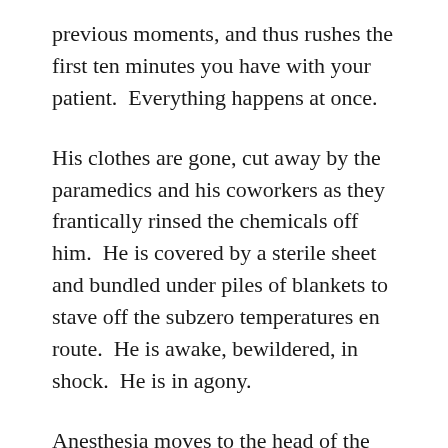previous moments, and thus rushes the first ten minutes you have with your patient.  Everything happens at once.
His clothes are gone, cut away by the paramedics and his coworkers as they frantically rinsed the chemicals off him.  He is covered by a sterile sheet and bundled under piles of blankets to stave off the subzero temperatures en route.  He is awake, bewildered, in shock.  He is in agony.
Anesthesia moves to the head of the bed.  “Mr. Jones, we’re going to give you medications to help you sleep, and to help control the pain.  We’re going to put a tube down your throat to help you breathe while you’re sleeping.  You won’t feel any pain, or remember us